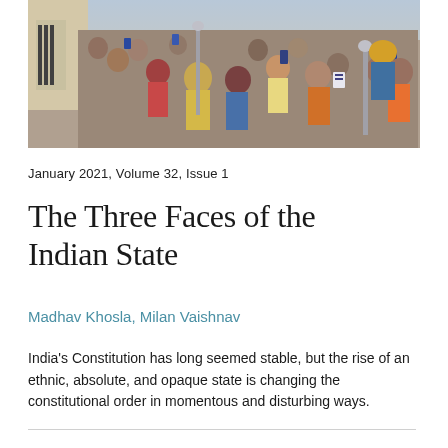[Figure (photo): A crowd of people at an outdoor public event in India; a figure in a light kurta with a shawl is visible on the left waving or gesturing, while many attendees, some holding mobile phones to take photos, fill the background.]
January 2021, Volume 32, Issue 1
The Three Faces of the Indian State
Madhav Khosla, Milan Vaishnav
India's Constitution has long seemed stable, but the rise of an ethnic, absolute, and opaque state is changing the constitutional order in momentous and disturbing ways.